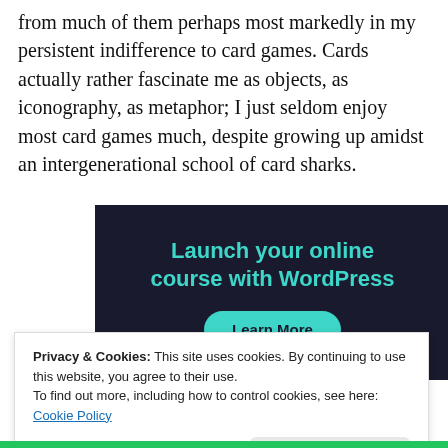from much of them perhaps most markedly in my persistent indifference to card games. Cards actually rather fascinate me as objects, as iconography, as metaphor; I just seldom enjoy most card games much, despite growing up amidst an intergenerational school of card sharks.
[Figure (other): Advertisement banner with dark navy background. Text reads 'Launch your online course with WordPress' in teal color, with a teal 'Learn More' rounded button below.]
Privacy & Cookies: This site uses cookies. By continuing to use this website, you agree to their use.
To find out more, including how to control cookies, see here:
Cookie Policy
Close and accept